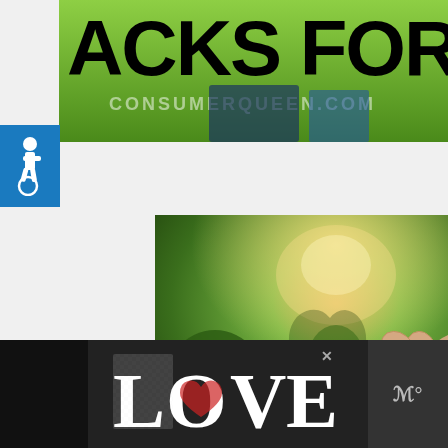[Figure (photo): Top banner showing a green sign with text 'ACKS FOR $1' and consumerqueen.com watermark, with a person partially visible]
[Figure (photo): Accessibility icon (wheelchair symbol) in blue square]
[Figure (photo): Advertisement image showing two hands making a heart shape with text 'LOVE > HATE' overlaid, with close button X and social sharing buttons (heart icon with count 1, share icon), and a 'WHAT'S NEXT' panel showing 'New Gerber Coupons +...']
[Figure (photo): Bottom advertisement bar showing decorative 'LOVE' text logo on dark background, with close X button and a logo on the right side]